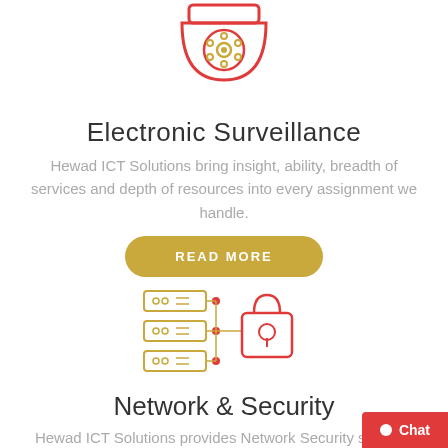[Figure (illustration): Red and yellow outline icon of a dome security camera viewed from below, showing lens and LED lights]
Electronic Surveillance
Hewad ICT Solutions bring insight, ability, breadth of services and depth of resources into every assignment we handle.
[Figure (other): READ MORE button — gold/yellow pill-shaped button with white uppercase text]
[Figure (illustration): Red and yellow outline icon of a network/server rack connected to a padlock, representing network security]
Network & Security
Hewad ICT Solutions provides Network Security services designed to protect the network in your all level organization